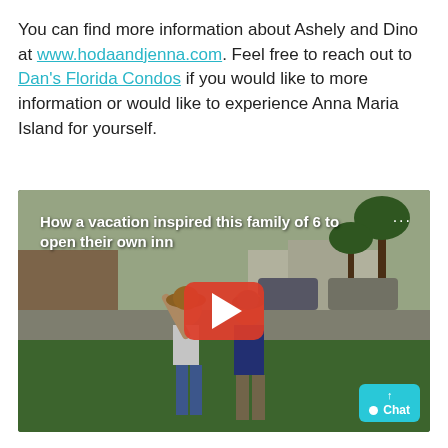You can find more information about Ashely and Dino at www.hodaandjenna.com. Feel free to reach out to Dan's Florida Condos if you would like to more information or would like to experience Anna Maria Island for yourself.
[Figure (screenshot): Embedded video thumbnail showing a couple standing outdoors on a grassy area with palm trees. Title reads 'How a vacation inspired this family of 6 to open their own inn'. A red YouTube-style play button is centered on the image. Three dots icon in top right corner.]